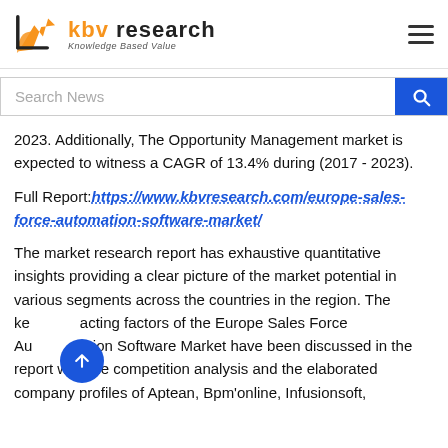KBV Research — Knowledge Based Value
Search News
2023. Additionally, The Opportunity Management market is expected to witness a CAGR of 13.4% during (2017 - 2023).
Full Report: https://www.kbvresearch.com/europe-sales-force-automation-software-market/
The market research report has exhaustive quantitative insights providing a clear picture of the market potential in various segments across the countries in the region. The key acting factors of the Europe Sales Force Automation Software Market have been discussed in the report with the competition analysis and the elaborated company profiles of Aptean, Bpm'online, Infusionsoft,